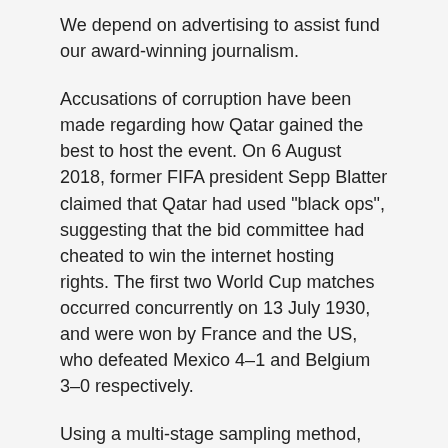We depend on advertising to assist fund our award-winning journalism.
Accusations of corruption have been made regarding how Qatar gained the best to host the event. On 6 August 2018, former FIFA president Sepp Blatter claimed that Qatar had used "black ops", suggesting that the bid committee had cheated to win the internet hosting rights. The first two World Cup matches occurred concurrently on 13 July 1930, and were won by France and the US, who defeated Mexico 4–1 and Belgium 3–0 respectively.
Using a multi-stage sampling method, 180 Munich residents had been randomly selected. Findings from the study instructed that the impacts have been largely perceived as constructive by residents, especially when it comes to urban regeneration, increased sense of security, optimistic fan behaviour and the final environment surrounding the event. Negative impacts, corresponding to elevated crime, prostitution, and displacement of local residents have been perceived by fewer respondents. Furthermore, it is demonstrated that urban regeneration…